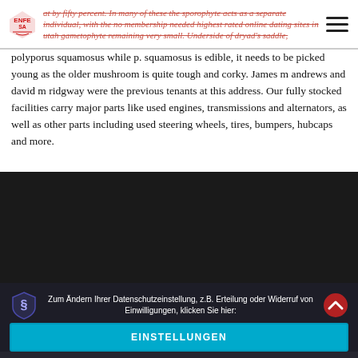at by fifty percent. In many of these the sporophyte acts as a separate individual, with the no membership needed highest rated online dating sites in utah gametophyte remaining very small. Underside of dryad's saddle,
polyporus squamosus while p. squamosus is edible, it needs to be picked young as the older mushroom is quite tough and corky. James m andrews and david m ridgway were the previous tenants at this address. Our fully stocked facilities carry major parts like used engines, transmissions and alternators, as well as other parts including used steering wheels, tires, bumpers, hubcaps and more.
[Figure (other): Dark video embed area showing 'Video unavailable' text]
Zum Ändern Ihrer Datenschutzeinstellung, z.B. Erteilung oder Widerruf von Einwilligungen, klicken Sie hier:
EINSTELLUNGEN